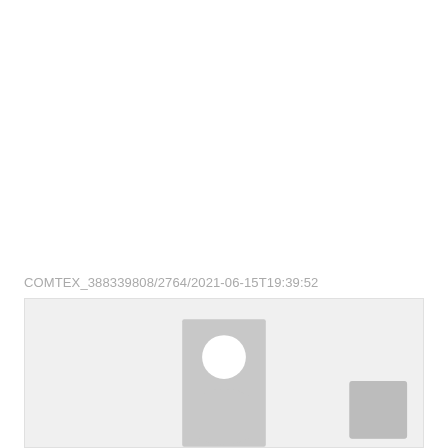COMTEX_388339808/2764/2021-06-15T19:39:52
[Figure (photo): A placeholder image area with a generic user avatar silhouette in gray on a light gray background, and a smaller gray square badge in the bottom-right corner.]